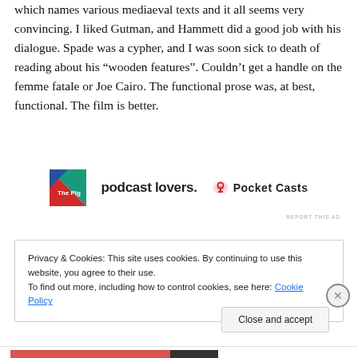there's this section on the history of the eponymous bird which names various mediaeval texts and it all seems very convincing. I liked Gutman, and Hammett did a good job with his dialogue. Spade was a cypher, and I was soon sick to death of reading about his “wooden features”. Couldn’t get a handle on the femme fatale or Joe Cairo. The functional prose was, at best, functional. The film is better.
[Figure (illustration): Advertisement banner featuring a red/green/dark geometric logo on the left, center text reading 'podcast lovers.' in bold sans-serif, and right section with Pocket Casts logo (red headphones icon) and text 'Pocket Casts']
REPORT THIS AD
Privacy & Cookies: This site uses cookies. By continuing to use this website, you agree to their use.
To find out more, including how to control cookies, see here: Cookie Policy
Close and accept